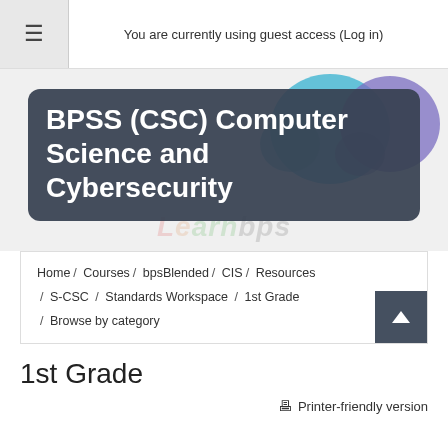You are currently using guest access (Log in)
BPSS (CSC) Computer Science and Cybersecurity
Home / Courses / bpsBlended / CIS / Resources / S-CSC / Standards Workspace / 1st Grade / Browse by category
1st Grade
Printer-friendly version